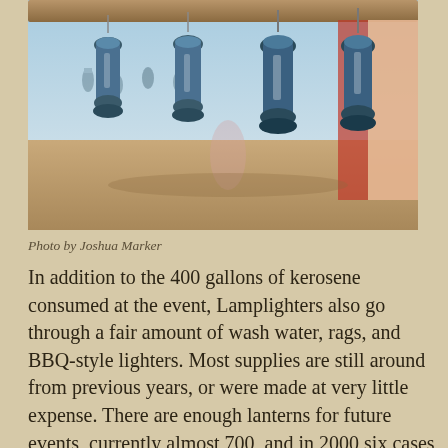[Figure (photo): Rows of kerosene lanterns hanging from a wooden beam at an outdoor market or event, with blurred background of fabric and sandy ground.]
Photo by Joshua Marker
In addition to the 400 gallons of kerosene consumed at the event, Lamplighters also go through a fair amount of wash water, rags, and BBQ-style lighters. Most supplies are still around from previous years, or were made at very little expense. There are enough lanterns for future events, currently almost 700, and in 2000 six cases of lanterns and hundreds of spare parts were purchased, bringing hundreds of damaged lanterns